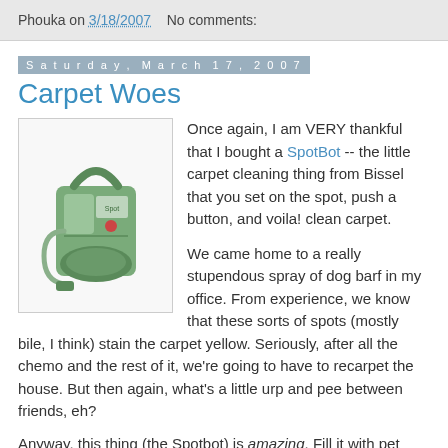Phouka on 3/18/2007    No comments:
Saturday, March 17, 2007
Carpet Woes
[Figure (photo): Green Bissell SpotBot portable carpet cleaner with hose attachment]
Once again, I am VERY thankful that I bought a SpotBot -- the little carpet cleaning thing from Bissel that you set on the spot, push a button, and voila! clean carpet.

We came home to a really stupendous spray of dog barf in my office. From experience, we know that these sorts of spots (mostly bile, I think) stain the carpet yellow. Seriously, after all the chemo and the rest of it, we're going to have to recarpet the house. But then again, what's a little urp and pee between friends, eh?
Anyway, this thing (the Spotbot) is amazing. Fill it with pet stain remover and some sort of Oxy-clean stuff and it pulls